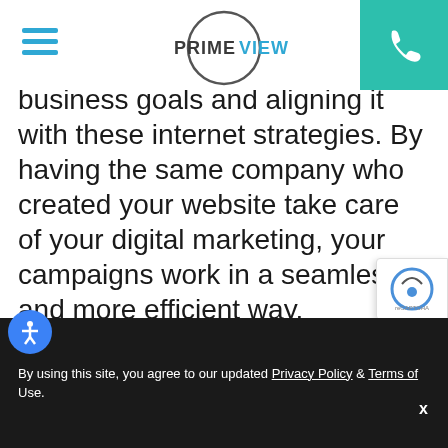[Figure (logo): PrimeView logo with circle and stylized text, hamburger menu icon on left, teal phone button on right]
business goals and aligning it with these internet strategies. By having the same company who created your website take care of your digital marketing, your campaigns work in a seamless and more efficient way.
[Figure (photo): Close-up blurred photo of a person's hand writing with a pen on paper, dark tones]
By using this site, you agree to our updated Privacy Policy & Terms of Use.